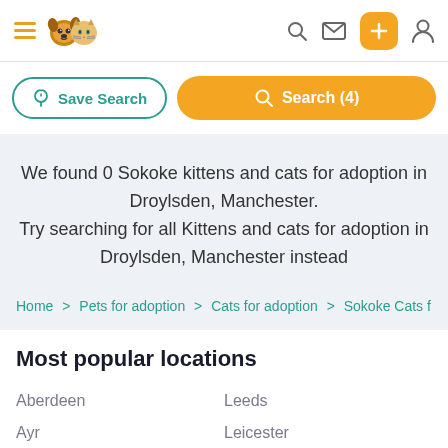Navigation header with logo, search, mail, add, and user icons
Save Search | Search (4)
We found 0 Sokoke kittens and cats for adoption in Droylsden, Manchester. Try searching for all Kittens and cats for adoption in Droylsden, Manchester instead
Home > Pets for adoption > Cats for adoption > Sokoke Cats f
Most popular locations
Aberdeen
Leeds
Ayr
Leicester